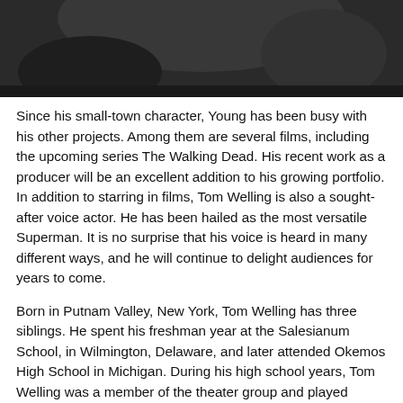[Figure (photo): Black and white close-up photo (partially cropped) of a person, dark tones, top portion visible.]
Since his small-town character, Young has been busy with his other projects. Among them are several films, including the upcoming series The Walking Dead. His recent work as a producer will be an excellent addition to his growing portfolio. In addition to starring in films, Tom Welling is also a sought-after voice actor. He has been hailed as the most versatile Superman. It is no surprise that his voice is heard in many different ways, and he will continue to delight audiences for years to come.
Born in Putnam Valley, New York, Tom Welling has three siblings. He spent his freshman year at the Salesianum School, in Wilmington, Delaware, and later attended Okemos High School in Michigan. During his high school years, Tom Welling was a member of the theater group and played baseball, basketball, and football. Currently, he's 42 years old. So, where is Tom Welling from?